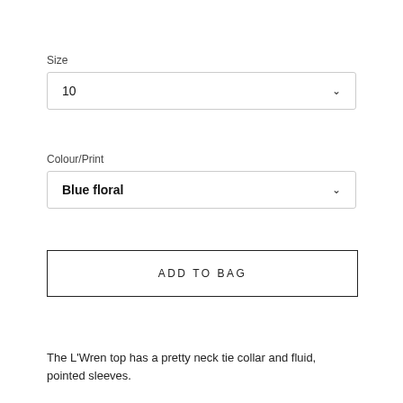Size
10
Colour/Print
Blue floral
ADD TO BAG
The L'Wren top has a pretty neck tie collar and fluid, pointed sleeves.